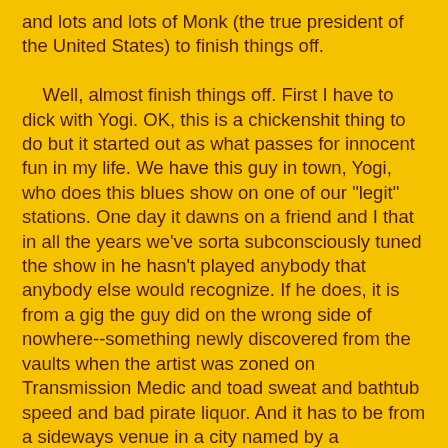and lots and lots of Monk (the true president of the United States) to finish things off.

   Well, almost finish things off. First I have to dick with Yogi. OK, this is a chickenshit thing to do but it started out as what passes for innocent fun in my life. We have this guy in town, Yogi, who does this blues show on one of our "legit" stations. One day it dawns on a friend and I that in all the years we've sorta subconsciously tuned the show in he hasn't played anybody that anybody else would recognize. If he does, it is from a gig the guy did on the wrong side of nowhere--something newly discovered from the vaults when the artist was zoned on Transmission Medic and toad sweat and bathtub speed and bad pirate liquor. And it has to be from a sideways venue in a city named by a misanthropic pessimist on his way to certain doom. Live hootchie-scrunch hoedown cornball jammin' where the guy yells out the name of the town and harangues the audience (never more than